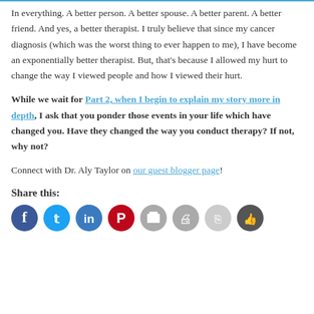In everything. A better person. A better spouse. A better parent. A better friend. And yes, a better therapist. I truly believe that since my cancer diagnosis (which was the worst thing to ever happen to me), I have become an exponentially better therapist. But, that's because I allowed my hurt to change the way I viewed people and how I viewed their hurt.
While we wait for Part 2, when I begin to explain my story more in depth, I ask that you ponder those events in your life which have changed you. Have they changed the way you conduct therapy? If not, why not?
Connect with Dr. Aly Taylor on our guest blogger page!
Share this:
[Figure (other): Row of social media share icon circles: Facebook (dark blue), Twitter (light blue), LinkedIn (medium blue), Pinterest (red), print (gray), print (gray), copy (light gray), like/thumbs (dark gray/black partial)]